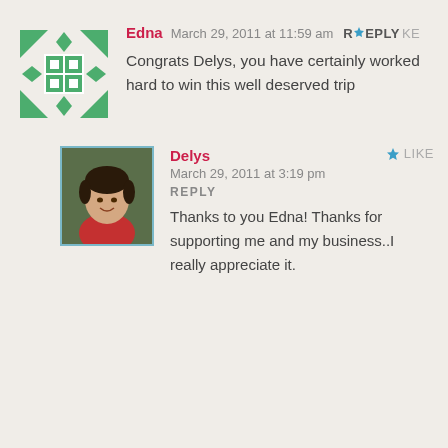[Figure (illustration): Edna's avatar: geometric quilt-pattern icon with green diamonds and squares on white background]
Edna  March 29, 2011 at 11:59 am  REPLY  LIKE
Congrats Delys, you have certainly worked hard to win this well deserved trip
[Figure (photo): Delys's avatar: photo of a woman with short dark hair wearing a red top, smiling, with blue border]
Delys  ★ LIKE  March 29, 2011 at 3:19 pm  REPLY
Thanks to you Edna! Thanks for supporting me and my business..I really appreciate it.